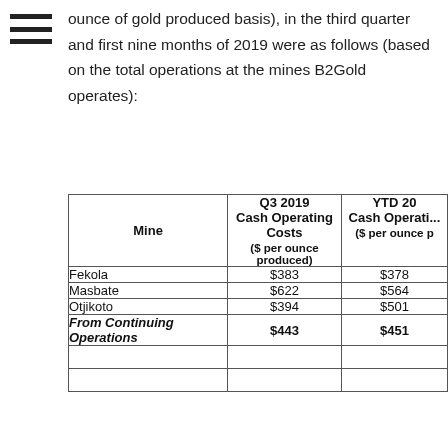[Figure (other): Hamburger menu icon — three horizontal bars]
ounce of gold produced basis), in the third quarter and first nine months of 2019 were as follows (based on the total operations at the mines B2Gold operates):
| Mine | Q3 2019 Cash Operating Costs ($ per ounce produced) | YTD 20... Cash Operating... ($ per ounce p... |
| --- | --- | --- |
| Fekola | $383 | $378 |
| Masbate | $622 | $564 |
| Otjikoto | $394 | $501 |
| From Continuing Operations | $443 | $451 |
|  |  |  |
|  |  |  |